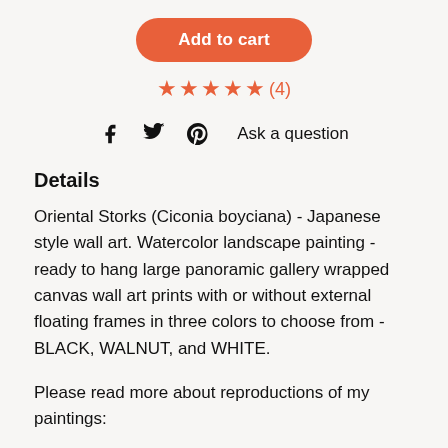[Figure (other): Orange/coral 'Add to cart' pill button]
★★★★★(4)
Facebook icon  Twitter icon  Pinterest icon  Ask a question
Details
Oriental Storks (Ciconia boyciana) - Japanese style wall art. Watercolor landscape painting - ready to hang large panoramic gallery wrapped canvas wall art prints with or without external floating frames in three colors to choose from - BLACK, WALNUT, and WHITE.
Please read more about reproductions of my paintings: